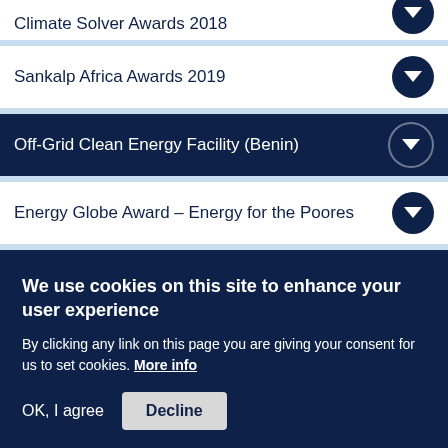Climate Solver Awards 2018
Sankalp Africa Awards 2019
Off-Grid Clean Energy Facility (Benin)
Energy Globe Award – Energy for the Poores
EDP Access to Energy Fund Program 2nd ed
Andhra Pradesh Energy Venture Pitch Comp
We use cookies on this site to enhance your user experience
By clicking any link on this page you are giving your consent for us to set cookies. More info
OK, I agree   Decline